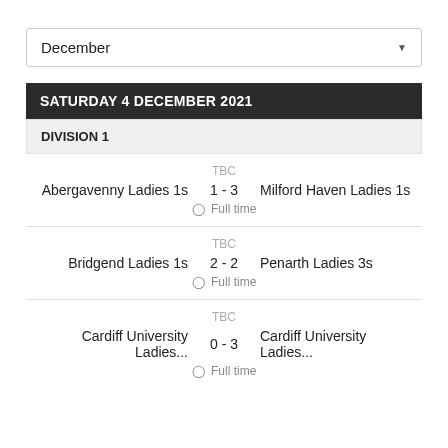December
SATURDAY 4 DECEMBER 2021
DIVISION 1
TBC
Abergavenny Ladies 1s  1 - 3  Milford Haven Ladies 1s
Full time
TBC
Bridgend Ladies 1s  2 - 2  Penarth Ladies 3s
Full time
TBC
Cardiff University Ladies...  0 - 3  Cardiff University Ladies...
Full time